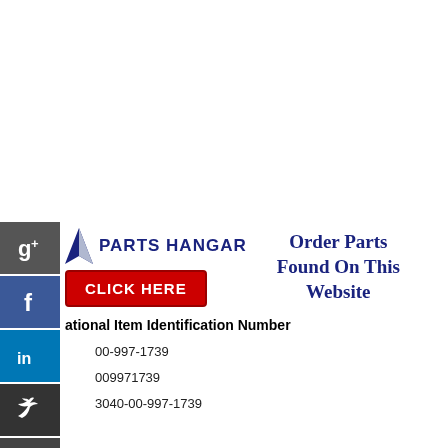[Figure (logo): Parts Hangar logo with airplane/arrow shape and company name, plus Click Here red button, and Order Parts Found On This Website text]
ational Item Identification Number
00-997-1739
009971739
3040-00-997-1739